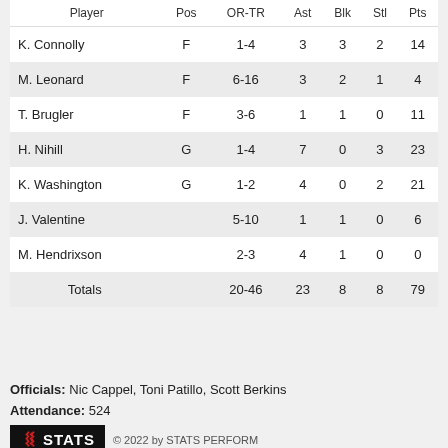| Player | Pos | OR-TR | Ast | Blk | Stl | Pts |
| --- | --- | --- | --- | --- | --- | --- |
| K. Connolly | F | 1-4 | 3 | 3 | 2 | 14 |
| M. Leonard | F | 6-16 | 3 | 2 | 1 | 4 |
| T. Brugler | F | 3-6 | 1 | 1 | 0 | 11 |
| H. Nihill | G | 1-4 | 7 | 0 | 3 | 23 |
| K. Washington | G | 1-2 | 4 | 0 | 2 | 21 |
| J. Valentine |  | 5-10 | 1 | 1 | 0 | 6 |
| M. Hendrixson |  | 2-3 | 4 | 1 | 0 | 0 |
| Totals |  | 20-46 | 23 | 8 | 8 | 79 |
Officials: Nic Cappel, Toni Patillo, Scott Berkins
Attendance: 524